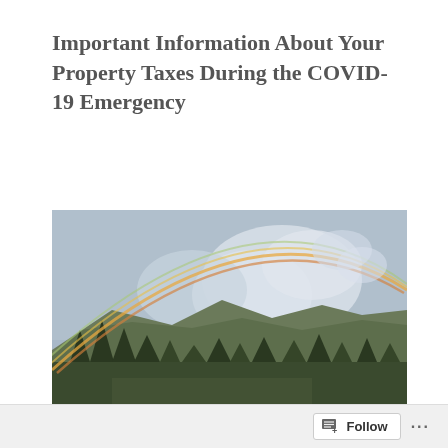Important Information About Your Property Taxes During the COVID-19 Emergency
[Figure (photo): Outdoor photograph of a rainbow arching over a mountainous landscape with green trees in the foreground and a partly cloudy sky.]
Follow ...